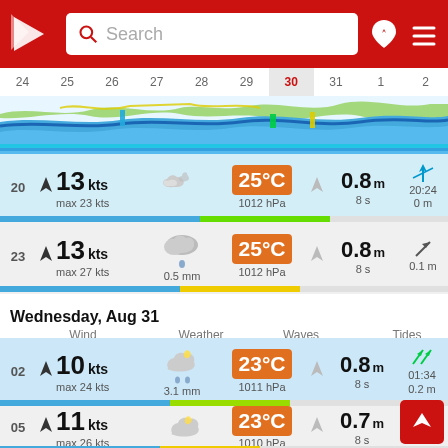Windy app header with search bar
[Figure (screenshot): Date bar showing dates 24-2 with 30 highlighted in red]
[Figure (illustration): Wave animation bar with blue waves, green and yellow color bands]
20 | 13 kts | max 23 kts | 25°C | 1012 hPa | 0.8 m | 8 s | 20:24 | 0 m
23 | 13 kts | max 27 kts | 0.5 mm | 25°C | 1012 hPa | 0.8 m | 8 s | 0.1 m
Wednesday, Aug 31
Wind | Weather | Waves | Tides
02 | 10 kts | max 24 kts | 3.1 mm | 23°C | 1011 hPa | 0.8 m | 8 s | 01:34 | 0.2 m
05 | 11 kts | max 26 kts | 23°C | 1010 hPa | 0.7 m | 8 s